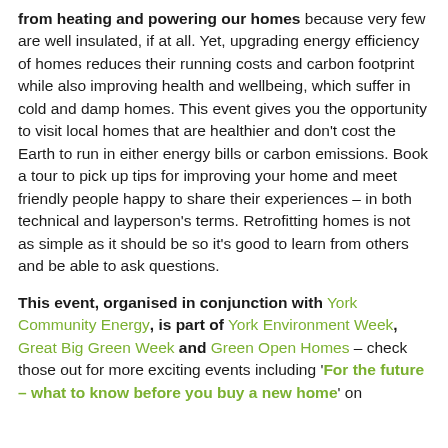from heating and powering our homes because very few are well insulated, if at all. Yet, upgrading energy efficiency of homes reduces their running costs and carbon footprint while also improving health and wellbeing, which suffer in cold and damp homes. This event gives you the opportunity to visit local homes that are healthier and don't cost the Earth to run in either energy bills or carbon emissions. Book a tour to pick up tips for improving your home and meet friendly people happy to share their experiences – in both technical and layperson's terms. Retrofitting homes is not as simple as it should be so it's good to learn from others and be able to ask questions.
This event, organised in conjunction with York Community Energy, is part of York Environment Week, Great Big Green Week and Green Open Homes – check those out for more exciting events including 'For the future – what to know before you buy a new home' on [cut off]